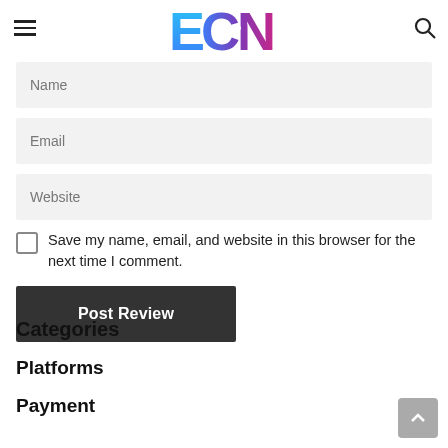ECN logo with hamburger menu and search icon
Name
Email
Website
Save my name, email, and website in this browser for the next time I comment.
Post Review
Categories
Platforms
Payment